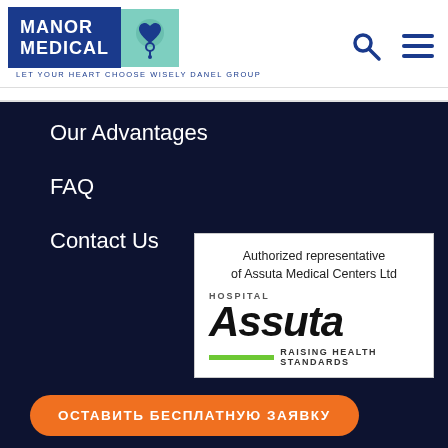[Figure (logo): Manor Medical logo with blue text block and teal icon box featuring a heart and medical symbol]
LET YOUR HEART CHOOSE WISELY DANEL GROUP
Our Advantages
FAQ
Contact Us
[Figure (logo): Assuta Hospital logo with text: Authorized representative of Assuta Medical Centers Ltd, HOSPITAL ASSUTA RAISING HEALTH STANDARDS]
ОСТАВИТЬ БЕСПЛАТНУЮ ЗАЯВКУ